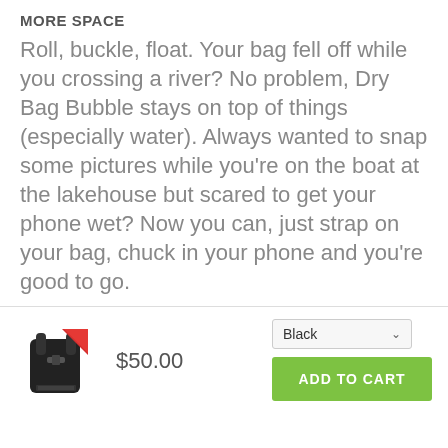MORE SPACE
Roll, buckle, float. Your bag fell off while you crossing a river? No problem, Dry Bag Bubble stays on top of things (especially water). Always wanted to snap some pictures while you’re on the boat at the lakehouse but scared to get your phone wet? Now you can, just strap on your bag, chuck in your phone and you’re good to go.
[Figure (photo): Product image of a black dry bag backpack with red accent]
$50.00
Black
ADD TO CART